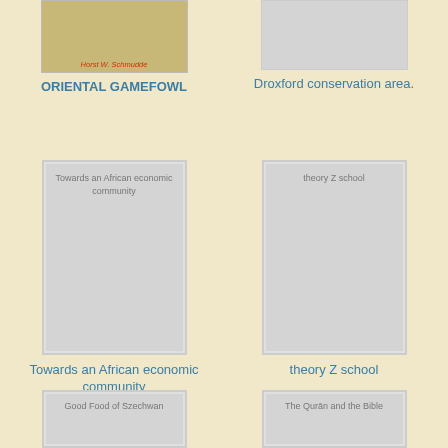[Figure (illustration): Book cover for ORIENTAL GAMEFOWL, partially visible at top, with brown/tan background and author name Horst W. Schmudde in red italic]
ORIENTAL GAMEFOWL
[Figure (photo): Gray placeholder image for Droxford conservation area book cover, partially visible]
Droxford conservation area.
[Figure (illustration): Book cover placeholder gray for Towards an African economic community]
Towards an African economic community
[Figure (illustration): Book cover placeholder gray for theory Z school]
theory Z school
[Figure (illustration): Book cover placeholder gray for Good Food of Szechwan, partially visible at bottom]
[Figure (illustration): Book cover placeholder gray for The Quran and the Bible, partially visible at bottom]